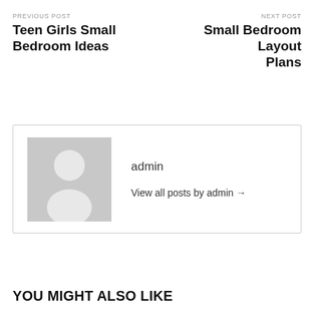PREVIOUS POST
Teen Girls Small Bedroom Ideas
NEXT POST
Small Bedroom Layout Plans
[Figure (illustration): Author avatar placeholder: gray square with white silhouette of a person (head circle and body shape).]
admin
View all posts by admin →
YOU MIGHT ALSO LIKE